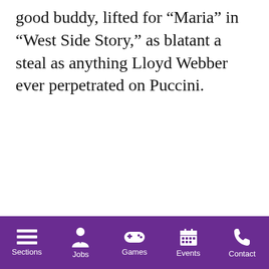good buddy, lifted for “Maria” in “West Side Story,” as blatant a steal as anything Lloyd Webber ever perpetrated on Puccini.
Sections  Jobs  Games  Events  Contact